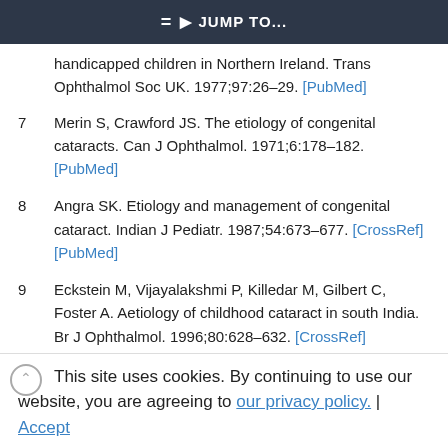JUMP TO...
handicapped children in Northern Ireland. Trans Ophthalmol Soc UK. 1977;97:26–29. [PubMed]
7  Merin S, Crawford JS. The etiology of congenital cataracts. Can J Ophthalmol. 1971;6:178–182. [PubMed]
8  Angra SK. Etiology and management of congenital cataract. Indian J Pediatr. 1987;54:673–677. [CrossRef] [PubMed]
9  Eckstein M, Vijayalakshmi P, Killedar M, Gilbert C, Foster A. Aetiology of childhood cataract in south India. Br J Ophthalmol. 1996;80:628–632. [CrossRef] [PubMed]
10  Harley JD, Hertzberg R. Aetiology of cataracts in
This site uses cookies. By continuing to use our website, you are agreeing to our privacy policy. | Accept
11  Office of Population Censuses and Surveys. Congenital malformations statistics: notifications 1991. Series MB3